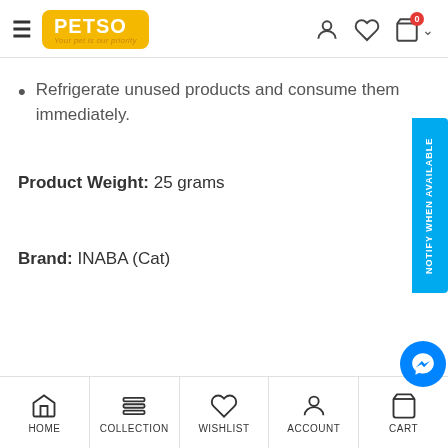PETSO - Your pet is our priority
Refrigerate unused products and consume them immediately.
Product Weight: 25 grams
Brand: INABA (Cat)
HOME | COLLECTION | WISHLIST | ACCOUNT | CART